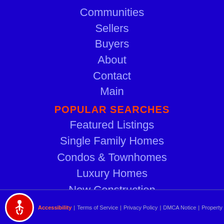Communities
Sellers
Buyers
About
Contact
Main
POPULAR SEARCHES
Featured Listings
Single Family Homes
Condos & Townhomes
Luxury Homes
New Construction
Accessibility | Terms of Service | Privacy Policy | DMCA Notice | Property